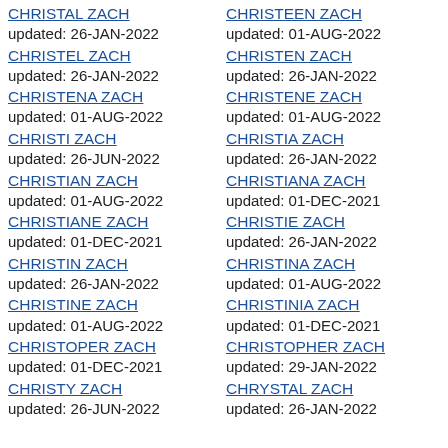CHRISTAL ZACH
updated: 26-JAN-2022
CHRISTEL ZACH
updated: 26-JAN-2022
CHRISTENA ZACH
updated: 01-AUG-2022
CHRISTI ZACH
updated: 26-JUN-2022
CHRISTIAN ZACH
updated: 01-AUG-2022
CHRISTIANE ZACH
updated: 01-DEC-2021
CHRISTIN ZACH
updated: 26-JAN-2022
CHRISTINE ZACH
updated: 01-AUG-2022
CHRISTOPER ZACH
updated: 01-DEC-2021
CHRISTY ZACH
updated: 26-JUN-2022
CHRISTEEN ZACH
updated: 01-AUG-2022
CHRISTEN ZACH
updated: 26-JAN-2022
CHRISTENE ZACH
updated: 01-AUG-2022
CHRISTIA ZACH
updated: 26-JAN-2022
CHRISTIANA ZACH
updated: 01-DEC-2021
CHRISTIE ZACH
updated: 26-JAN-2022
CHRISTINA ZACH
updated: 01-AUG-2022
CHRISTINIA ZACH
updated: 01-DEC-2021
CHRISTOPHER ZACH
updated: 29-JAN-2022
CHRYSTAL ZACH
updated: 26-JAN-2022